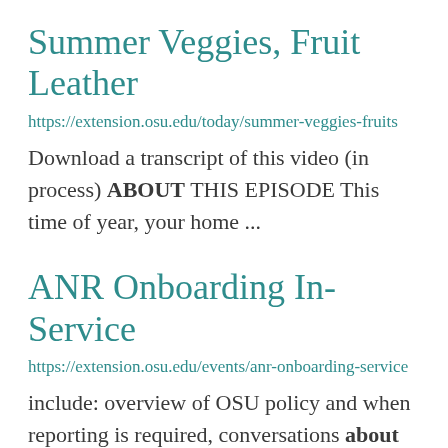Summer Veggies, Fruit Leather
https://extension.osu.edu/today/summer-veggies-fruits
Download a transcript of this video (in process) ABOUT THIS EPISODE This time of year, your home ...
ANR Onboarding In-Service
https://extension.osu.edu/events/anr-onboarding-service
include: overview of OSU policy and when reporting is required, conversations about setting boundaries, ...
Ohio Opportunity Zones in